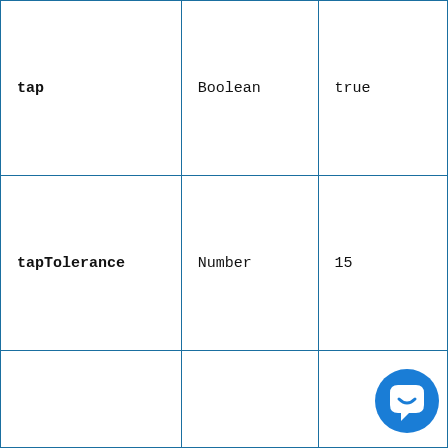| tap | Boolean | true |
| tapTolerance | Number | 15 |
|  |  |  |